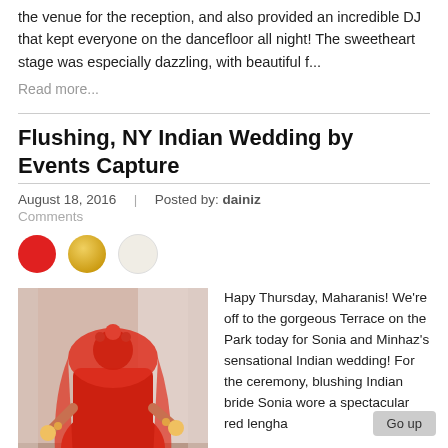the venue for the reception, and also provided an incredible DJ that kept everyone on the dancefloor all night! The sweetheart stage was especially dazzling, with beautiful f...
Read more...
Flushing, NY Indian Wedding by Events Capture
August 18, 2016  |  Posted by: dainiz
Comments
[Figure (illustration): Three colored circles: red, gold, and cream/light beige]
[Figure (photo): Indian bride in red lengha with red veil, viewed from behind, standing in a decorated hall]
Hapy Thursday, Maharanis! We're off to the gorgeous Terrace on the Park today for Sonia and Minhaz's sensational Indian wedding! For the ceremony, blushing Indian bride Sonia wore a spectacular red lengha from Parineeta The Bride and had glowing makeup done by Beauty by Tamanna! We especially loved the star details on the d...